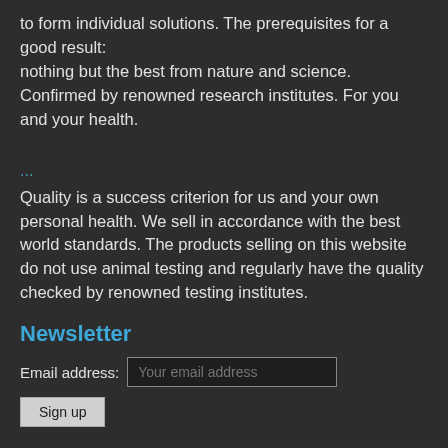to form individual solutions. The prerequisites for a good result:
nothing but the best from nature and science. Confirmed by renowned research institutes. For you and your health.
...
Quality is a success criterion for us and your own personal health. We sell in accordance with the best world standards. The products selling on this website do not use animal testing and regularly have the quality checked by renowned testing institutes.
Newsletter
Email address: Your email address
Sign up